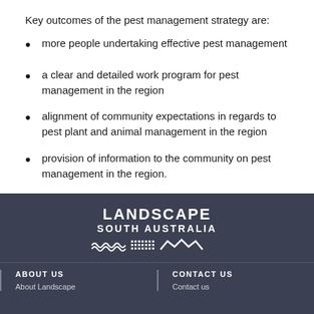Key outcomes of the pest management strategy are:
more people undertaking effective pest management
a clear and detailed work program for pest management in the region
alignment of community expectations in regards to pest plant and animal management in the region
provision of information to the community on pest management in the region.
LANDSCAPE SOUTH AUSTRALIA | ABOUT US | CONTACT US | About Landscape | Contact us